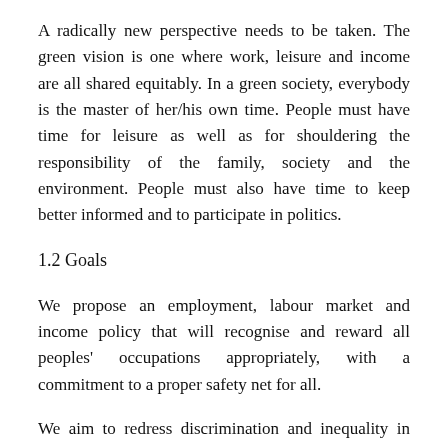A radically new perspective needs to be taken. The green vision is one where work, leisure and income are all shared equitably. In a green society, everybody is the master of her/his own time. People must have time for leisure as well as for shouldering the responsibility of the family, society and the environment. People must also have time to keep better informed and to participate in politics.
1.2 Goals
We propose an employment, labour market and income policy that will recognise and reward all peoples' occupations appropriately, with a commitment to a proper safety net for all.
We aim to redress discrimination and inequality in employment and to promote equitable participation by all Indians regardless of gender, age or ethnicity.